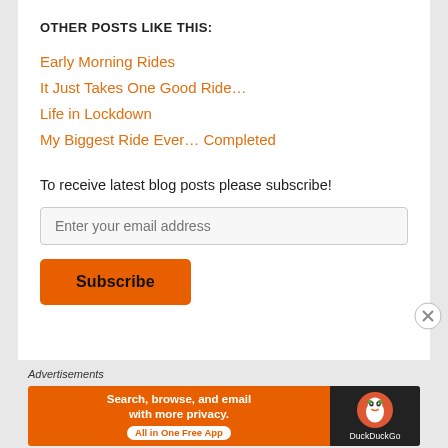OTHER POSTS LIKE THIS:
Early Morning Rides
It Just Takes One Good Ride…
Life in Lockdown
My Biggest Ride Ever… Completed
To receive latest blog posts please subscribe!
Enter your email address
Subscribe
Advertisements
[Figure (screenshot): DuckDuckGo advertisement banner: orange background with text 'Search, browse, and email with more privacy. All in One Free App' and DuckDuckGo logo on dark background]